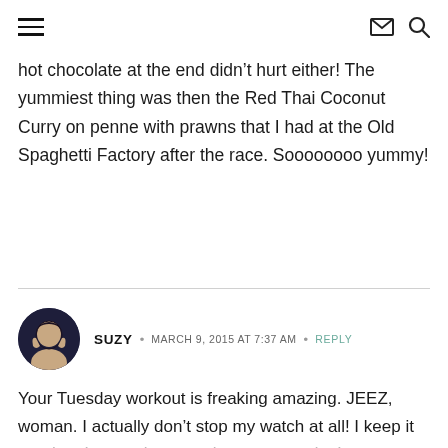[hamburger menu icon] [envelope icon] [search icon]
hot chocolate at the end didn’t hurt either! The yummiest thing was then the Red Thai Coconut Curry on penne with prawns that I had at the Old Spaghetti Factory after the race. Soooooooo yummy!
SUZY • MARCH 9, 2015 AT 7:37 AM • REPLY
Your Tuesday workout is freaking amazing. JEEZ, woman. I actually don’t stop my watch at all! I keep it running, I guess because in a race we don’t get to stop the clock. And my running OCD is that when I run